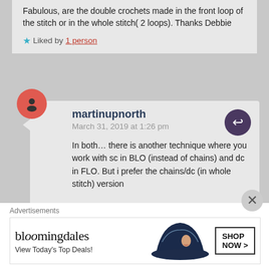Fabulous, are the double crochets made in the front loop of the stitch or in the whole stitch( 2 loops). Thanks Debbie
Liked by 1 person
martinupnorth
March 31, 2019 at 1:26 pm
In both… there is another technique where you work with sc in BLO (instead of chains) and dc in FLO. But i prefer the chains/dc (in whole stitch) version
Like
Advertisements
[Figure (other): Bloomingdale's advertisement banner with hat image and 'SHOP NOW >' button, tagline 'View Today's Top Deals!']